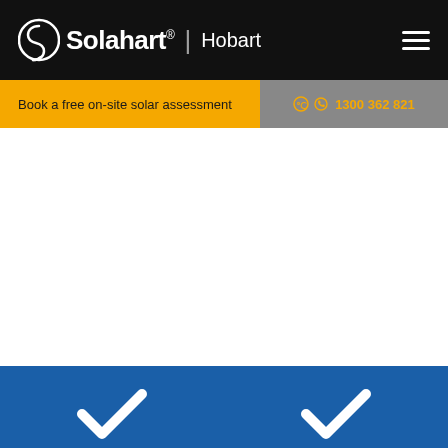[Figure (logo): Solahart logo with circular S icon, brand name 'Solahart', vertical divider, and 'Hobart' location text, on black background. Hamburger menu icon on right.]
Book a free on-site solar assessment
1300 362 821
[Figure (illustration): White content area (page hero/image placeholder, blank white)]
[Figure (illustration): Blue section at bottom with two white checkmark icons partially visible]